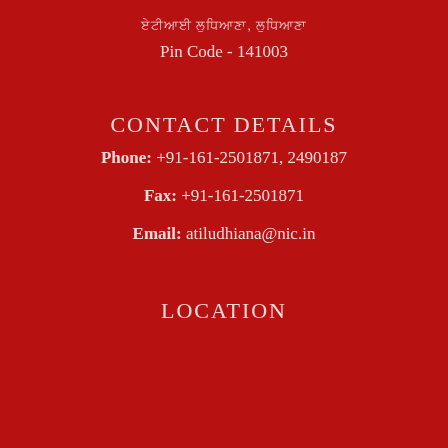ਏਟੀਆਈ ਲੁਧਿਆਣਾ, ਲੁਧਿਆਣਾ
Pin Code - 141003
CONTACT DETAILS
Phone: +91-161-2501871, 2490187
Fax: +91-161-2501871
Email: atiludhiana@nic.in
LOCATION